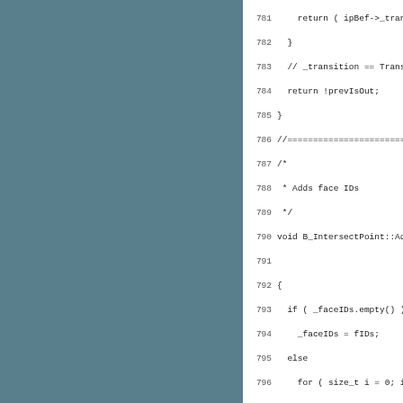[Figure (screenshot): Source code listing in C++ showing lines 781-812 of a file, with a teal/dark-teal sidebar on the left and white background for the code. The code shows methods of B_IntersectPoint class including Add() and HasCommonFace().]